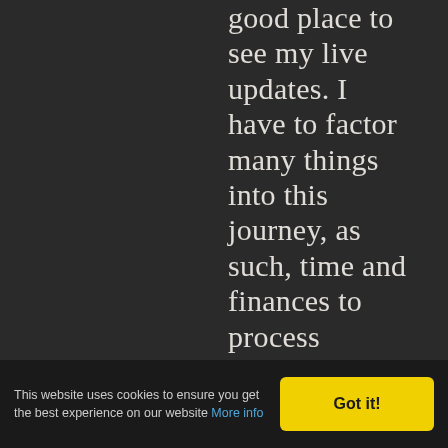good place to see my live updates. I have to factor many things into this journey, as such, time and finances to process photos, locate internet, upload and write on the road is prioritized. I do it whenever I can, and as fast
This website uses cookies to ensure you get the best experience on our website More info